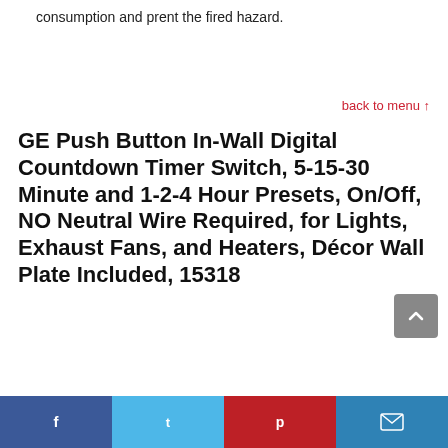consumption and prent the fired hazard.
back to menu ↑
GE Push Button In-Wall Digital Countdown Timer Switch, 5-15-30 Minute and 1-2-4 Hour Presets, On/Off, NO Neutral Wire Required, for Lights, Exhaust Fans, and Heaters, Décor Wall Plate Included, 15318
[Figure (other): Product image area with -40% discount badge (green circle) and a small product image of a wall switch button]
[Figure (other): Social sharing bar at bottom: Facebook (blue), Twitter (light blue), Pinterest (red), Email (blue)]